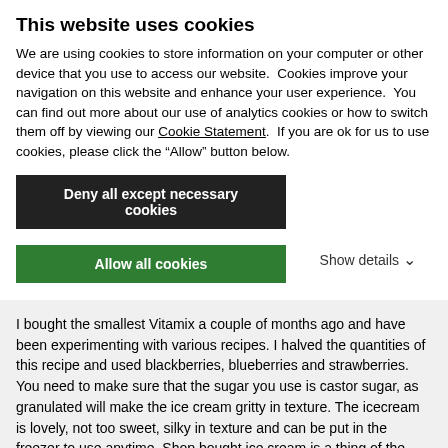This website uses cookies
We are using cookies to store information on your computer or other device that you use to access our website.  Cookies improve your navigation on this website and enhance your user experience.  You can find out more about our use of analytics cookies or how to switch them off by viewing our Cookie Statement.  If you are ok for us to use cookies, please click the “Allow” button below.
Deny all except necessary cookies
Allow all cookies
Show details ⌄
I bought the smallest Vitamix a couple of months ago and have been experimenting with various recipes. I halved the quantities of this recipe and used blackberries, blueberries and strawberries. You need to make sure that the sugar you use is castor sugar, as granulated will make the ice cream gritty in texture. The icecream is lovely, not too sweet, silky in texture and can be put in the freezer to use anytime. Shop bought ice cream is a thing of the past - I usually get fresh fruit and store portions of it in the freezer. I would highly